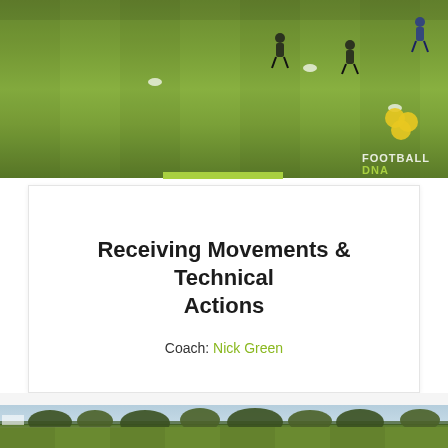[Figure (photo): Aerial/overhead view of a grass football/soccer training field with players and cones visible. Football DNA watermark in bottom right corner.]
Receiving Movements & Technical Actions
Coach: Nick Green
[Figure (photo): Ground-level view of a grass football/soccer training field with trees in background, a child with a ball, a coach, and training equipment including an oval sled/pad and cones.]